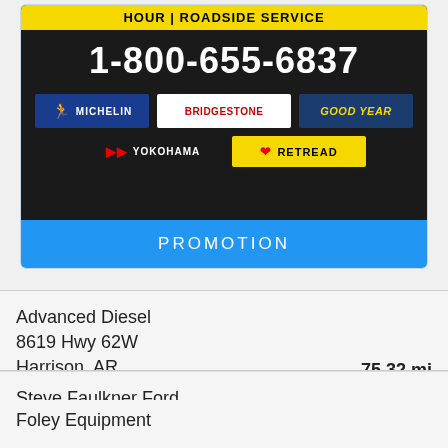[Figure (infographic): Tire roadside service advertisement showing phone number 1-800-655-6837 with brand logos: Michelin, Bridgestone, Goodyear, Yokohama, Retread on dark background]
PROMOTION
Advanced Diesel
8619 Hwy 62W
Harrison, AR
75.32 mi
Steve Faulkner Ford
3501 S Santa Fe
Chanute, KS
80.17 mi
Foley Equipment